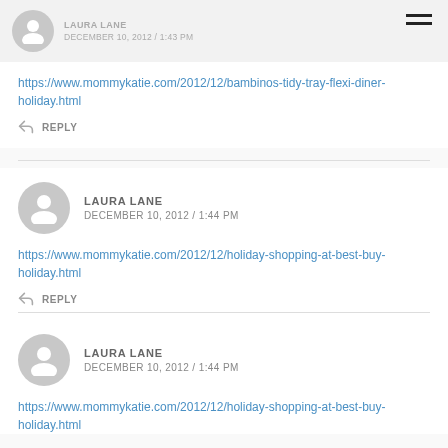LAURA LANE
DECEMBER 10, 2012 / 1:43 PM
https://www.mommykatie.com/2012/12/bambinos-tidy-tray-flexi-diner-holiday.html
REPLY
LAURA LANE
DECEMBER 10, 2012 / 1:44 PM
https://www.mommykatie.com/2012/12/holiday-shopping-at-best-buy-holiday.html
REPLY
LAURA LANE
DECEMBER 10, 2012 / 1:44 PM
https://www.mommykatie.com/2012/12/holiday-shopping-at-best-buy-holiday.html